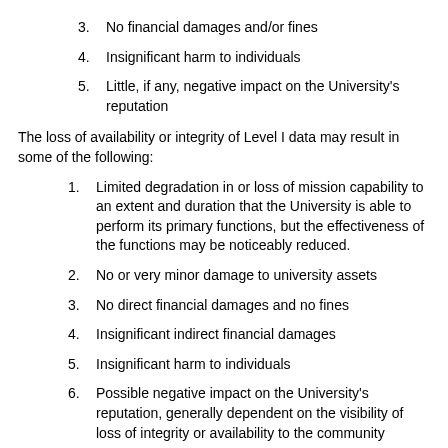3. No financial damages and/or fines
4. Insignificant harm to individuals
5. Little, if any, negative impact on the University's reputation
The loss of availability or integrity of Level I data may result in some of the following:
1. Limited degradation in or loss of mission capability to an extent and duration that the University is able to perform its primary functions, but the effectiveness of the functions may be noticeably reduced.
2. No or very minor damage to university assets
3. No direct financial damages and no fines
4. Insignificant indirect financial damages
5. Insignificant harm to individuals
6. Possible negative impact on the University's reputation, generally dependent on the visibility of loss of integrity or availability to the community
Examples include published “white pages” directory information, maps, phone contacts, lists of available classes, course descriptions,